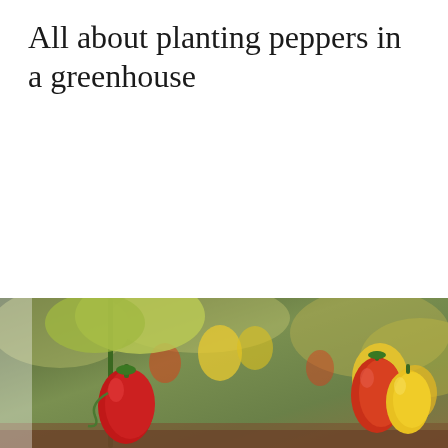All about planting peppers in a greenhouse
Many people grow peppers in greenhouse conditions. This must be done, observing many important rules. It is possible to achieve a good harvest in a …
[Figure (photo): Close-up photograph of red and yellow bell peppers growing on plants in a greenhouse, with blurred green foliage in the background.]